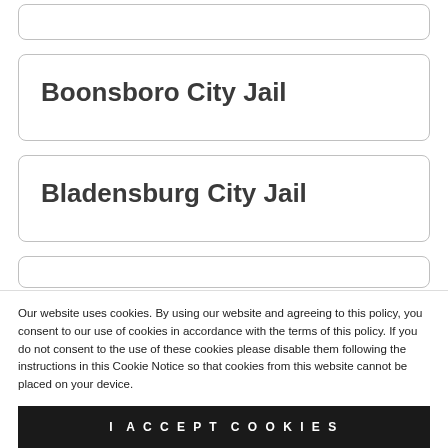Boonsboro City Jail
Bladensburg City Jail
Our website uses cookies. By using our website and agreeing to this policy, you consent to our use of cookies in accordance with the terms of this policy. If you do not consent to the use of these cookies please disable them following the instructions in this Cookie Notice so that cookies from this website cannot be placed on your device.
I ACCEPT COOKIES